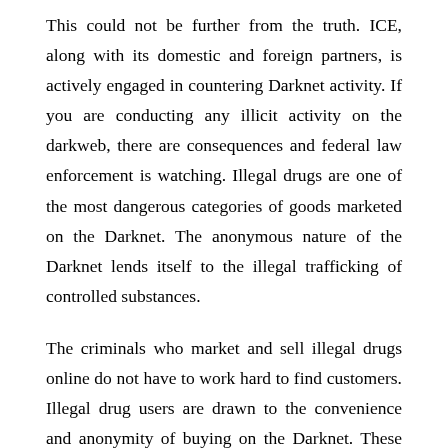This could not be further from the truth. ICE, along with its domestic and foreign partners, is actively engaged in countering Darknet activity. If you are conducting any illicit activity on the darkweb, there are consequences and federal law enforcement is watching. Illegal drugs are one of the most dangerous categories of goods marketed on the Darknet. The anonymous nature of the Darknet lends itself to the illegal trafficking of controlled substances.
The criminals who market and sell illegal drugs online do not have to work hard to find customers. Illegal drug users are drawn to the convenience and anonymity of buying on the Darknet. These customers are risking their lives by ordering substances that come from an anonymous source. The perceived anonymity of the transaction only heightens the risk.